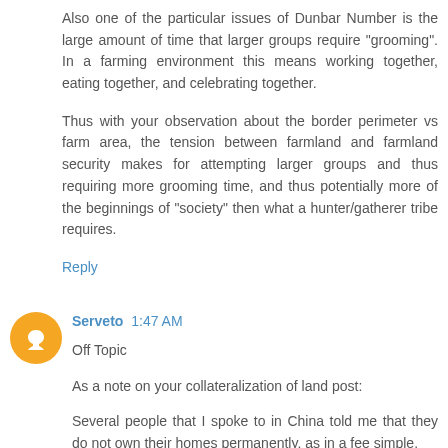Also one of the particular issues of Dunbar Number is the large amount of time that larger groups require "grooming". In a farming environment this means working together, eating together, and celebrating together.
Thus with your observation about the border perimeter vs farm area, the tension between farmland and farmland security makes for attempting larger groups and thus requiring more grooming time, and thus potentially more of the beginnings of "society" then what a hunter/gatherer tribe requires.
Reply
Serveto 1:47 AM
Off Topic
As a note on your collateralization of land post:
Several people that I spoke to in China told me that they do not own their homes permanently, as in a fee simple.